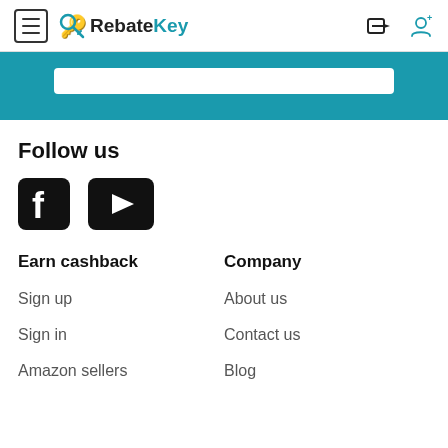RebateKey
[Figure (screenshot): RebateKey website header with hamburger menu, logo, sign-in and sign-up icons, and teal banner with search bar]
Follow us
[Figure (illustration): Facebook and YouTube social media icons]
Earn cashback
Company
Sign up
About us
Sign in
Contact us
Amazon sellers
Blog